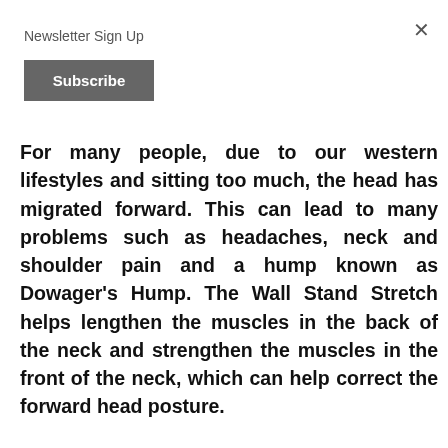Newsletter Sign Up
Subscribe
For many people, due to our western lifestyles and sitting too much, the head has migrated forward. This can lead to many problems such as headaches, neck and shoulder pain and a hump known as Dowager’s Hump. The Wall Stand Stretch helps lengthen the muscles in the back of the neck and strengthen the muscles in the front of the neck, which can help correct the forward head posture.